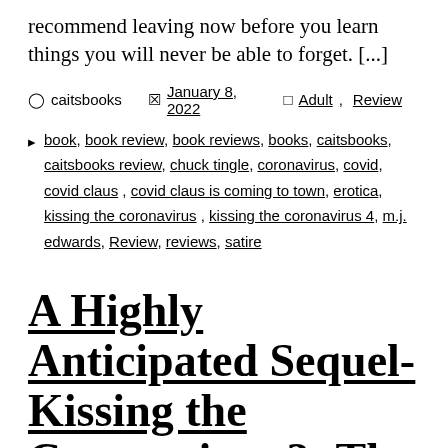recommend leaving now before you learn things you will never be able to forget. [...]
caitsbooks  January 8, 2022  Adult, Review
book, book review, book reviews, books, caitsbooks, caitsbooks review, chuck tingle, coronavirus, covid, covid claus, covid claus is coming to town, erotica, kissing the coronavirus, kissing the coronavirus 4, m.j. edwards, Review, reviews, satire
A Highly Anticipated Sequel- Kissing the Coronavirus 2: The Second Wave by M. J.